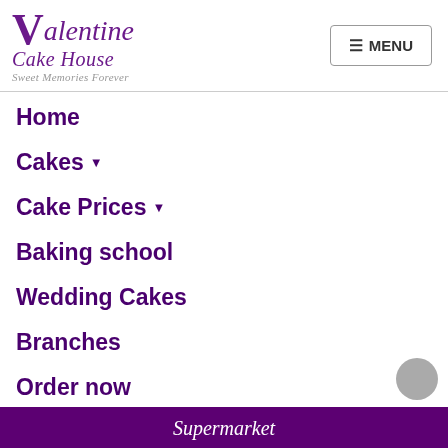Valentine Cake House — Sweet Memories Forever
Home
Cakes ▾
Cake Prices ▾
Baking school
Wedding Cakes
Branches
Order now
Supermarket